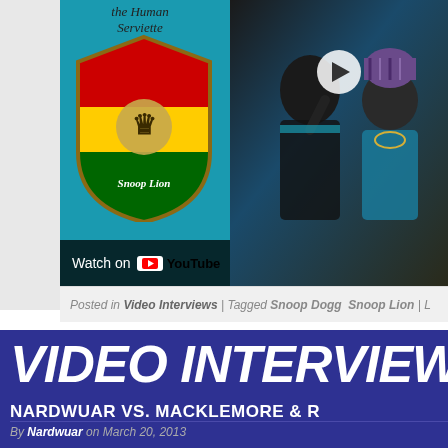[Figure (screenshot): YouTube video thumbnail showing Snoop Lion branding with 'The Human Serviette' text and Snoop Lion logo on left (teal background), and two hip-hop artists posing on the right (dark background). Watch on YouTube button overlay at bottom left.]
Posted in Video Interviews | Tagged Snoop Dogg  Snoop Lion | L
VIDEO INTERVIEW
NARDWUAR VS. MACKLEMORE & R
By Nardwuar on March 20, 2013